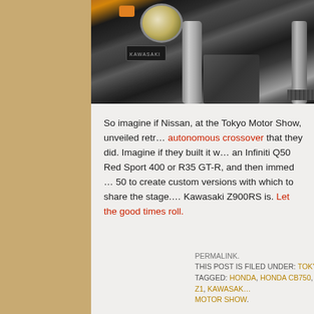[Figure (photo): Close-up photograph of a Kawasaki motorcycle's front end, showing headlight, turn signal, fork tubes, engine components, and a Kawasaki badge. Dark background.]
So imagine if Nissan, at the Tokyo Motor Show, unveiled retr… autonomous crossover that they did. Imagine if they built it w… an Infiniti Q50 Red Sport 400 or R35 GT-R, and then immed… 50 to create custom versions with which to share the stage.… Kawasaki Z900RS is. Let the good times roll.
PERMALINK. THIS POST IS FILED UNDER: TOKYO MOTOR SHOW AND TAGGED: HONDA, HONDA CB750, KAWASAKI, KAWASAKI Z1, KAWASAK… MOTOR SHOW.